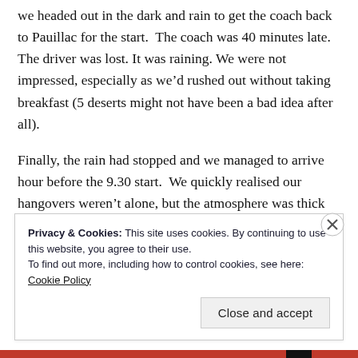we headed out in the dark and rain to get the coach back to Pauillac for the start.  The coach was 40 minutes late.  The driver was lost. It was raining. We were not impressed, especially as we'd rushed out without taking breakfast (5 deserts might not have been a bad idea after all).

Finally, the rain had stopped and we managed to arrive hour before the 9.30 start.  We quickly realised our hangovers weren't alone, but the atmosphere was thick
Privacy & Cookies: This site uses cookies. By continuing to use this website, you agree to their use.
To find out more, including how to control cookies, see here: Cookie Policy